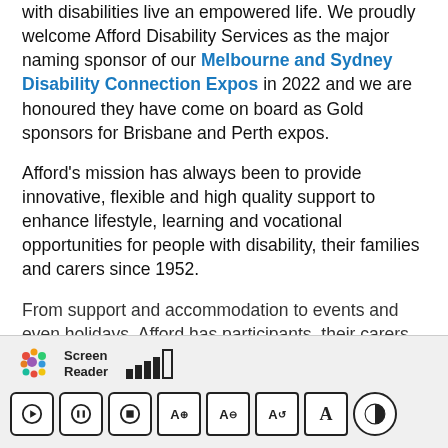with disabilities live an empowered life. We proudly welcome Afford Disability Services as the major naming sponsor of our Melbourne and Sydney Disability Connection Expos in 2022 and we are honoured they have come on board as Gold sponsors for Brisbane and Perth expos.

Afford's mission has always been to provide innovative, flexible and high quality support to enhance lifestyle, learning and vocational opportunities for people with disability, their families and carers since 1952.

From support and accommodation to events and even holidays, Afford has participants, their carers
[Figure (screenshot): Screen Reader toolbar with colorful logo, signal bar indicator, and playback/text controls including play, pause, stop, text increase, text decrease, text reset, font toggle, and contrast toggle buttons.]